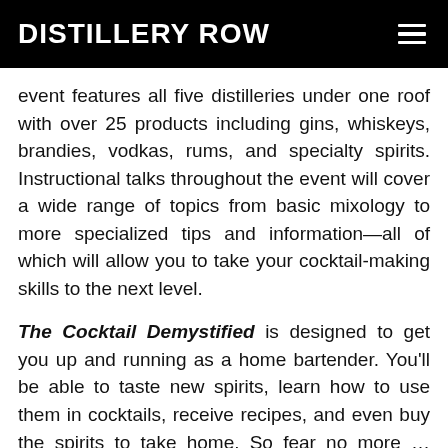DISTILLERY ROW
event features all five distilleries under one roof with over 25 products including gins, whiskeys, brandies, vodkas, rums, and specialty spirits. Instructional talks throughout the event will cover a wide range of topics from basic mixology to more specialized tips and information—all of which will allow you to take your cocktail-making skills to the next level.
The Cocktail Demystified is designed to get you up and running as a home bartender. You'll be able to taste new spirits, learn how to use them in cocktails, receive recipes, and even buy the spirits to take home. So fear no more … come learn how to conquer the cocktail!
Saturday, June 29th from 2-8 pm
133 SE Madison Street, Portland, Oregon 97214